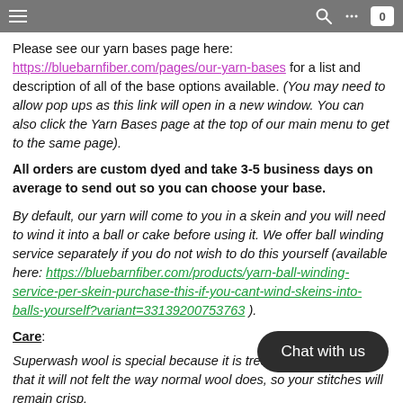[navigation bar with hamburger menu, search, more options, cart]
Please see our yarn bases page here: https://bluebarnfiber.com/pages/our-yarn-bases for a list and description of all of the base options available. (You may need to allow pop ups as this link will open in a new window. You can also click the Yarn Bases page at the top of our main menu to get to the same page).
All orders are custom dyed and take 3-5 business days on average to send out so you can choose your base.
By default, our yarn will come to you in a skein and you will need to wind it into a ball or cake before using it. We offer ball winding service separately if you do not wish to do this yourself (available here: https://bluebarnfiber.com/products/yarn-ball-winding-service-per-skein-purchase-this-if-you-cant-wind-skeins-into-balls-yourself?variant=33139200753763 ).
Care:
Superwash wool is special because it is treated in such a way that it will not felt the way normal wool does, so your stitches will remain crisp.
As with all hand dyed items, we recommend hand washing your yarn/finished item in cool water and laying it flat to dry. We rinse